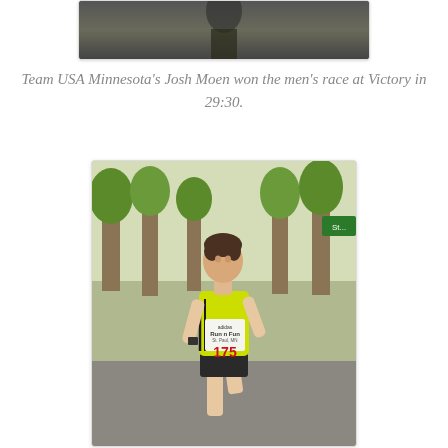[Figure (photo): Partial photo of a runner at the top of the page, appears to be wearing a dark uniform, cropped view]
Team USA Minnesota's Josh Moen won the men's race at Victory in 29:30.
[Figure (photo): Photo of Josh Moen running on a road in a bright yellow/green Adidas singlet with race number 175 reading 'Run n Fun St. Paul, MN', trees visible in background]